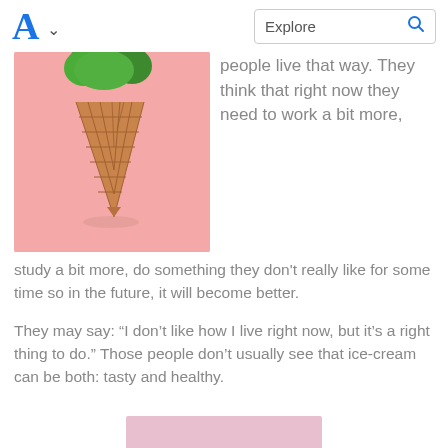A  Explore
[Figure (photo): An ice cream cone with green broccoli as the topping instead of ice cream, photographed against a pink background.]
people live that way. They think that right now they need to work a bit more, study a bit more, do something they don't really like for some time so in the future, it will become better.
They may say: “I don’t like how I live right now, but it’s a right thing to do.” Those people don’t usually see that ice-cream can be both: tasty and healthy.
[Figure (photo): Bottom portion of a pink/light purple background image, partially visible at the bottom of the page.]